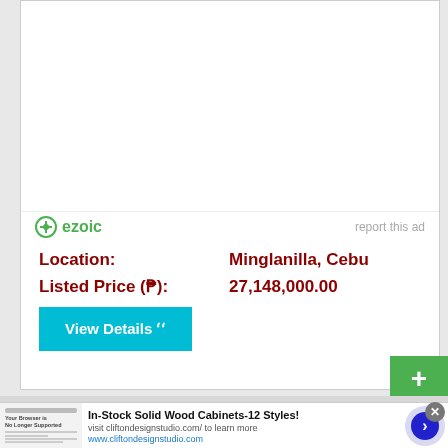[Figure (other): Ezoic ad placeholder white area]
ezoic   report this ad
Location:   Minglanilla, Cebu
Listed Price (₱):   27,148,000.00
View Details ⟫⟫
[Figure (other): Green share button with plus icon and SHARE label]
[Figure (screenshot): Bottom advertisement banner for In-Stock Solid Wood Cabinets-12 Styles! from cliftondesignstudio.com with browser thumbnail and navigation arrow]